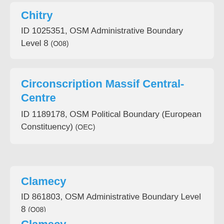Chitry
ID 1025351, OSM Administrative Boundary Level 8 (O08)
Circonscription Massif Central-Centre
ID 1189178, OSM Political Boundary (European Constituency) (OEC)
Clamecy
ID 861803, OSM Administrative Boundary Level 8 (O08)
Clamecy